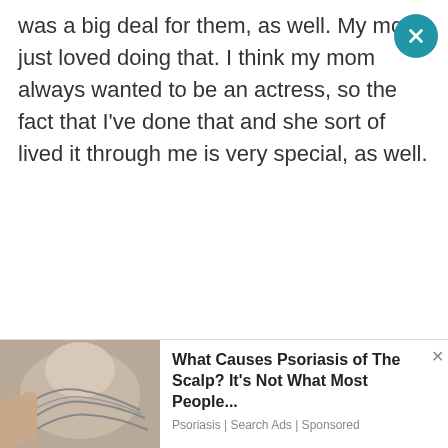was a big deal for them, as well. My mom just loved doing that. I think my mom always wanted to be an actress, so the fact that I've done that and she sort of lived it through me is very special, as well.
ADVERTISEMENT
[Figure (other): Advertisement placeholder box (gray rectangle)]
[Figure (photo): Bottom advertisement showing a close-up photo of a person's scalp/head with gray hair, alongside ad text: What Causes Psoriasis of The Scalp? It's Not What Most People... Psoriasis | Search Ads | Sponsored]